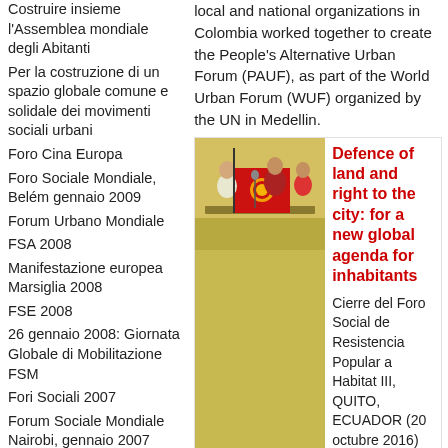Costruire insieme l'Assemblea mondiale degli Abitanti
Per la costruzione di un spazio globale comune e solidale dei movimenti sociali urbani
Foro Cina Europa
Foro Sociale Mondiale, Belém gennaio 2009
Forum Urbano Mondiale
FSA 2008
Manifestazione europea Marsiglia 2008
FSE 2008
26 gennaio 2008: Giornata Globale di Mobilitazione FSM
Fori Sociali 2007
Forum Sociale Mondiale Nairobi, gennaio 2007
Forum Sociale Russo 2006
Word Urban Forum 2006
Foro Sociale Europeo, Atene maggio 2006
Il decimo Incontro del FCOC
Foro Sociale Mondiale
local and national organizations in Colombia worked together to create the People's Alternative Urban Forum (PAUF), as part of the World Urban Forum (WUF) organized by the UN in Medellin.
[Figure (photo): A photo of people at a forum event with a red banner]
Defence of land and right to the city: for a new global agenda for inhabitants
Cierre del Foro Social de Resistencia Popular a Habitat III, QUITO, ECUADOR (20 octubre 2016) 1. A quick tour of cities shows us that today